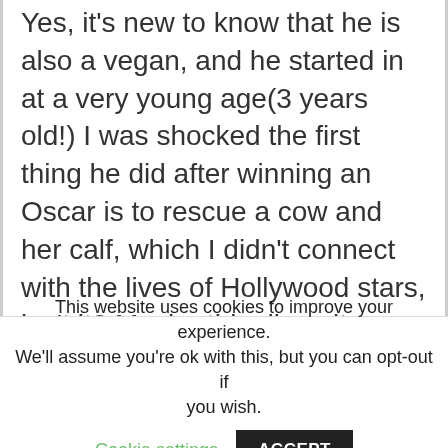Yes, it's new to know that he is also a vegan, and he started in at a very young age(3 years old!) I was shocked the first thing he did after winning an Oscar is to rescue a cow and her calf, which I didn't connect with the lives of Hollywood stars, isn't it? Maybe this diversity makes what he is right now, and he did set up a role model for the following generation of actors and actresses in that room. He does deserve big applause from me.
This website uses cookies to improve your experience. We'll assume you're ok with this, but you can opt-out if you wish. Cookie settings ACCEPT